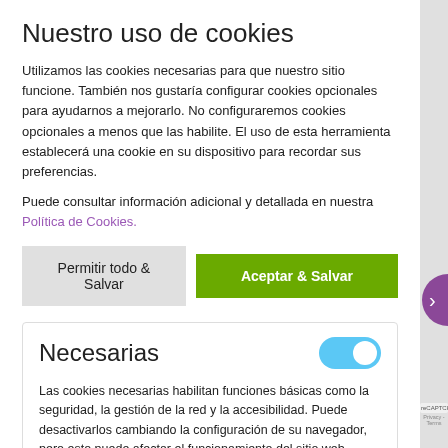Nuestro uso de cookies
Utilizamos las cookies necesarias para que nuestro sitio funcione. También nos gustaría configurar cookies opcionales para ayudarnos a mejorarlo. No configuraremos cookies opcionales a menos que las habilite. El uso de esta herramienta establecerá una cookie en su dispositivo para recordar sus preferencias.
Puede consultar información adicional y detallada en nuestra Política de Cookies.
Permitir todo & Salvar
Aceptar & Salvar
Necesarias
Las cookies necesarias habilitan funciones básicas como la seguridad, la gestión de la red y la accesibilidad. Puede desactivarlos cambiando la configuración de su navegador, pero esto puede afectar el funcionamiento del sitio web.